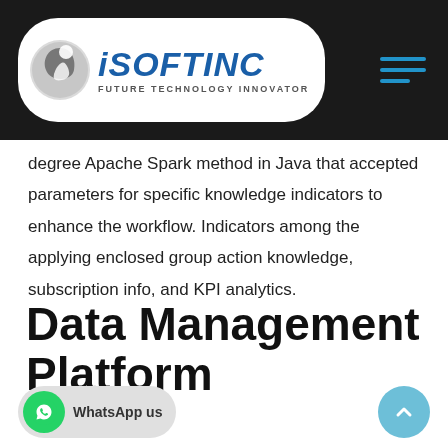iSOFTINC - FUTURE TECHNOLOGY INNOVATOR
degree Apache Spark method in Java that accepted parameters for specific knowledge indicators to enhance the workflow. Indicators among the applying enclosed group action knowledge, subscription info, and KPI analytics.
Data Management Platform